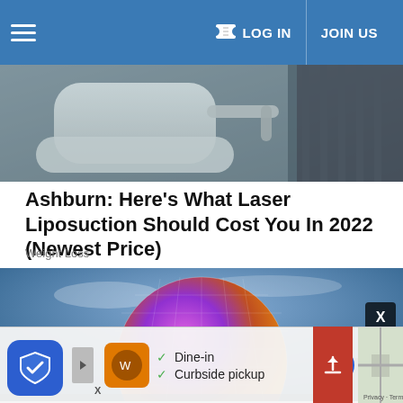LOG IN  JOIN US
[Figure (photo): Medical/clinical equipment — white reclining chair with chrome arms, dark background]
Ashburn: Here's What Laser Liposuction Should Cost You In 2022 (Newest Price)
Weight Loss
[Figure (photo): Epcot's Spaceship Earth geodesic sphere illuminated in purple and orange at night with blue sky background]
✓ Dine-in
✓ Curbside pickup